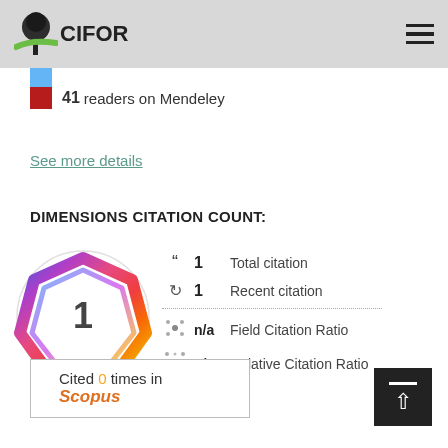CIFOR
41 readers on Mendeley
See more details
DIMENSIONS CITATION COUNT:
[Figure (infographic): Dimensions citation badge showing a colorful geometric heptagon shape with the number 1 in the center, alongside citation stats: 1 Total citation, 1 Recent citation, n/a Field Citation Ratio, n/a Relative Citation Ratio]
Cited 0 times in Scopus